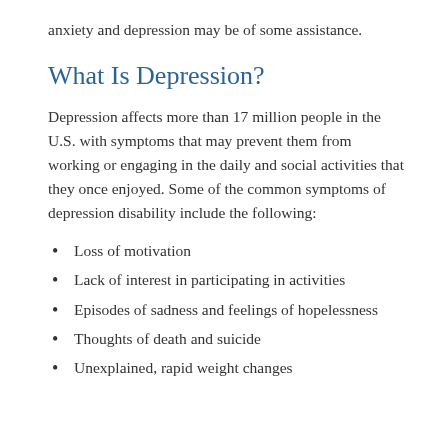anxiety and depression may be of some assistance.
What Is Depression?
Depression affects more than 17 million people in the U.S. with symptoms that may prevent them from working or engaging in the daily and social activities that they once enjoyed. Some of the common symptoms of depression disability include the following:
Loss of motivation
Lack of interest in participating in activities
Episodes of sadness and feelings of hopelessness
Thoughts of death and suicide
Unexplained, rapid weight changes